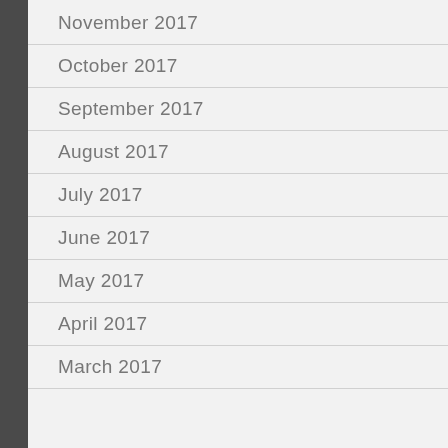November 2017
October 2017
September 2017
August 2017
July 2017
June 2017
May 2017
April 2017
March 2017